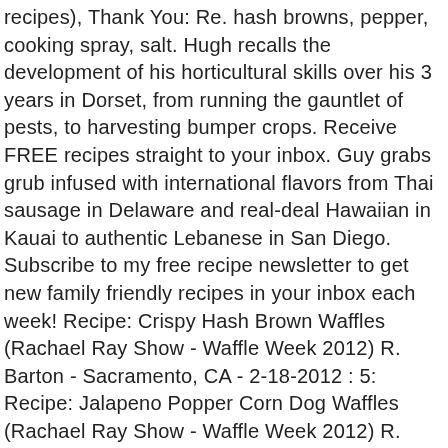recipes), Thank You: Re. hash browns, pepper, cooking spray, salt. Hugh recalls the development of his horticultural skills over his 3 years in Dorset, from running the gauntlet of pests, to harvesting bumper crops. Receive FREE recipes straight to your inbox. Guy grabs grub infused with international flavors from Thai sausage in Delaware and real-deal Hawaiian in Kauai to authentic Lebanese in San Diego. Subscribe to my free recipe newsletter to get new family friendly recipes in your inbox each week! Recipe: Crispy Hash Brown Waffles (Rachael Ray Show - Waffle Week 2012) R. Barton - Sacramento, CA - 2-18-2012 : 5: Recipe: Jalapeno Popper Corn Dog Waffles (Rachael Ray Show - Waffle Week 2012) R. Barton - Sacramento, CA - 2-18-2012 : 6: re: Waffle Iron used on Rachael Ray's Show for Waffle Week 2012 : R. Barton - Sacramento, CA - 2-18-2012 : 7